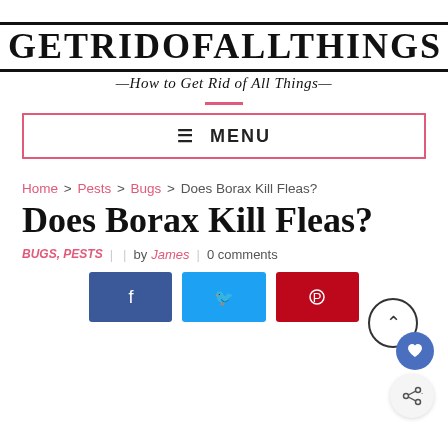[Figure (logo): GetRidOfAllThings website logo with bold uppercase text and tagline 'How to Get Rid of All Things']
≡ MENU
Home > Pests > Bugs > Does Borax Kill Fleas?
Does Borax Kill Fleas?
BUGS, PESTS | | by James | 0 comments
[Figure (infographic): Social share buttons: Facebook (dark blue), Twitter (light blue), Pinterest (red)]